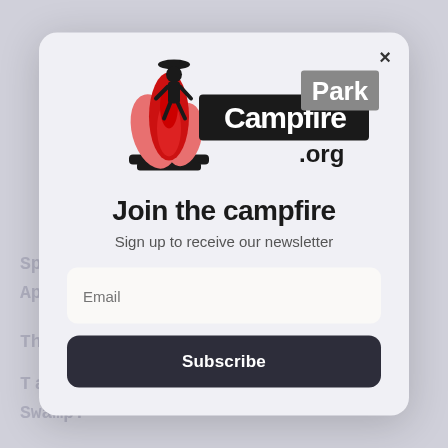[Figure (screenshot): Background text watermark showing partial article text about spring drought and Big Cypress Swamp, dimmed/greyed out behind a modal dialog]
[Figure (logo): CampfirePark.org logo: campfire with cowboy silhouette, black banner with 'Campfire' in white, grey banner with 'Park' in white, '.org' in dark text]
Join the campfire
Sign up to receive our newsletter
Email
Subscribe